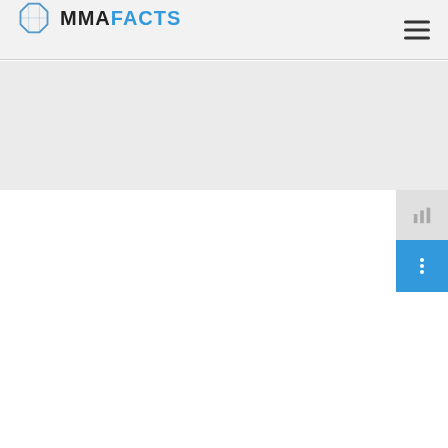MMAFACTS
[Figure (logo): MMAFacts website header with hexagon/octagon cage logo icon and MMAFACTS text logo in dark and blue colors, with hamburger menu icon on the right]
[Figure (other): Gray hero/banner area below the header navigation]
[Figure (other): Gray social/share widget tab on right side with icon]
[Figure (other): Blue widget/button on right side with vertical dots icon]